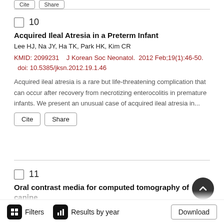10
Acquired Ileal Atresia in a Preterm Infant
Lee HJ, Na JY, Ha TK, Park HK, Kim CR
KMID: 2099231    J Korean Soc Neonatol.  2012 Feb;19(1):46-50.  doi: 10.5385/jksn.2012.19.1.46
Acquired ileal atresia is a rare but life-threatening complication that can occur after recovery from necrotizing enterocolitis in premature infants. We present an unusual case of acquired ileal atresia in...
11
Oral contrast media for computed tomography of canine pancreas
Filters  Results by year  Download